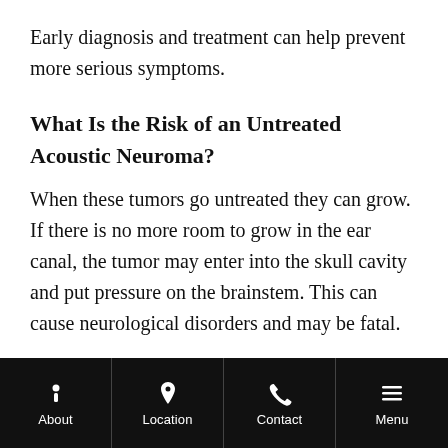Early diagnosis and treatment can help prevent more serious symptoms.
What Is the Risk of an Untreated Acoustic Neuroma?
When these tumors go untreated they can grow. If there is no more room to grow in the ear canal, the tumor may enter into the skull cavity and put pressure on the brainstem. This can cause neurological disorders and may be fatal.
About | Location | Contact | Menu